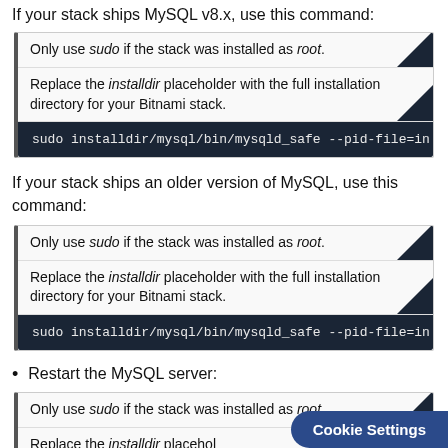If your stack ships MySQL v8.x, use this command:
Only use sudo if the stack was installed as root.
Replace the installdir placeholder with the full installation directory for your Bitnami stack.
sudo installdir/mysql/bin/mysqld_safe --pid-file=in
If your stack ships an older version of MySQL, use this command:
Only use sudo if the stack was installed as root.
Replace the installdir placeholder with the full installation directory for your Bitnami stack.
sudo installdir/mysql/bin/mysqld_safe --pid-file=in
Restart the MySQL server:
Only use sudo if the stack was installed as root.
Replace the installdir placehol…
Cookie Settings